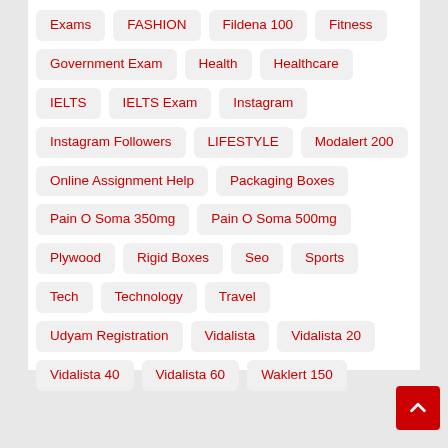Exams
FASHION
Fildena 100
Fitness
Government Exam
Health
Healthcare
IELTS
IELTS Exam
Instagram
Instagram Followers
LIFESTYLE
Modalert 200
Online Assignment Help
Packaging Boxes
Pain O Soma 350mg
Pain O Soma 500mg
Plywood
Rigid Boxes
Seo
Sports
Tech
Technology
Travel
Udyam Registration
Vidalista
Vidalista 20
Vidalista 40
Vidalista 60
Waklert 150